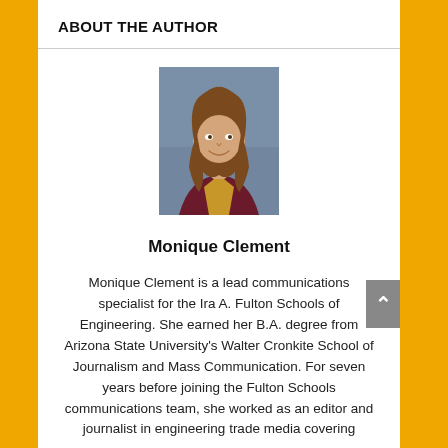ABOUT THE AUTHOR
[Figure (photo): Headshot photo of Monique Clement, a young woman with long brown hair, smiling, wearing a maroon and gold top, against a blue-grey background.]
Monique Clement
Monique Clement is a lead communications specialist for the Ira A. Fulton Schools of Engineering. She earned her B.A. degree from Arizona State University's Walter Cronkite School of Journalism and Mass Communication. For seven years before joining the Fulton Schools communications team, she worked as an editor and journalist in engineering trade media covering the...